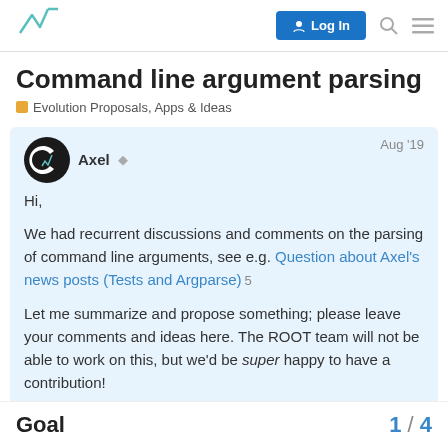Log In [navigation bar with logo, search, menu]
Command line argument parsing
Evolution Proposals, Apps & Ideas
Axel  Aug '19
Hi,
We had recurrent discussions and comments on the parsing of command line arguments, see e.g. Question about Axel's news posts (Tests and Argparse) 5
Let me summarize and propose something; please leave your comments and ideas here. The ROOT team will not be able to work on this, but we'd be super happy to have a contribution!
Goal
1 / 4